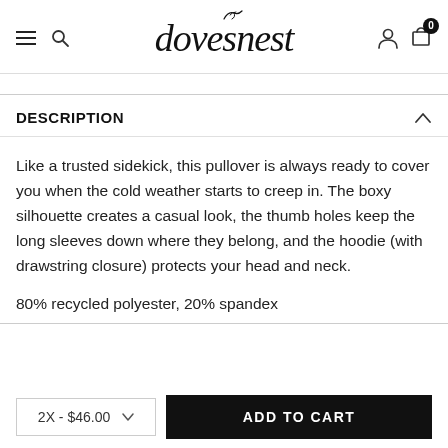dovesnest — navigation bar with hamburger menu, search, logo, account, and cart (0 items)
DESCRIPTION
Like a trusted sidekick, this pullover is always ready to cover you when the cold weather starts to creep in. The boxy silhouette creates a casual look, the thumb holes keep the long sleeves down where they belong, and the hoodie (with drawstring closure) protects your head and neck.
80% recycled polyester, 20% spandex
2X - $46.00  ADD TO CART